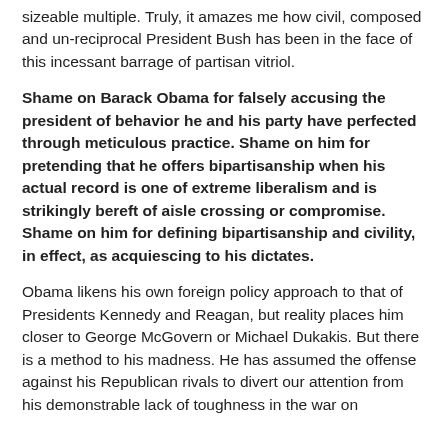sizeable multiple. Truly, it amazes me how civil, composed and un-reciprocal President Bush has been in the face of this incessant barrage of partisan vitriol.
Shame on Barack Obama for falsely accusing the president of behavior he and his party have perfected through meticulous practice. Shame on him for pretending that he offers bipartisanship when his actual record is one of extreme liberalism and is strikingly bereft of aisle crossing or compromise. Shame on him for defining bipartisanship and civility, in effect, as acquiescing to his dictates.
Obama likens his own foreign policy approach to that of Presidents Kennedy and Reagan, but reality places him closer to George McGovern or Michael Dukakis. But there is a method to his madness. He has assumed the offense against his Republican rivals to divert our attention from his demonstrable lack of toughness in the war on